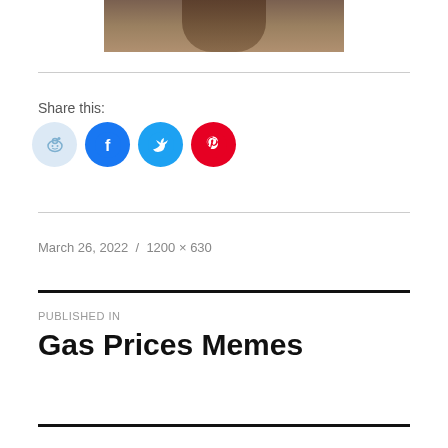[Figure (photo): Partial view of a person at the top of the page, cropped]
Share this:
[Figure (infographic): Social share buttons: Reddit, Facebook, Twitter, Pinterest]
March 26, 2022 / 1200 × 630
PUBLISHED IN
Gas Prices Memes